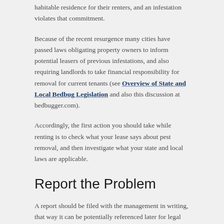habitable residence for their renters, and an infestation violates that commitment.
Because of the recent resurgence many cities have passed laws obligating property owners to inform potential leasers of previous infestations, and also requiring landlords to take financial responsibility for removal for current tenants (see Overview of State and Local Bedbug Legislation and also this discussion at bedbugger.com).
Accordingly, the first action you should take while renting is to check what your lease says about pest removal, and then investigate what your state and local laws are applicable.
Report the Problem
A report should be filed with the management in writing, that way it can be potentially referenced later for legal purposes. Property owners often